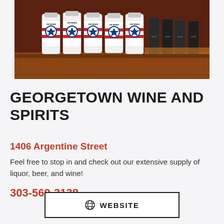[Figure (photo): Photo of Jim Beam whiskey bottles lined up on a shelf in a liquor store, with other bottles visible in the background.]
GEORGETOWN WINE AND SPIRITS
1406 Argentine Street
Feel free to stop in and check out our extensive supply of liquor, beer, and wine!
303-569-3138
WEBSITE